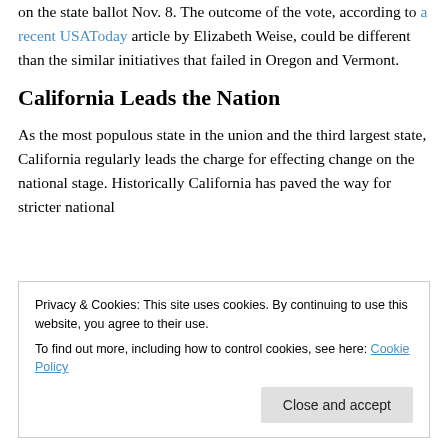on the state ballot Nov. 8. The outcome of the vote, according to a recent USAToday article by Elizabeth Weise, could be different than the similar initiatives that failed in Oregon and Vermont.
California Leads the Nation
As the most populous state in the union and the third largest state, California regularly leads the charge for effecting change on the national stage. Historically California has paved the way for stricter national
Privacy & Cookies: This site uses cookies. By continuing to use this website, you agree to their use.
To find out more, including how to control cookies, see here: Cookie Policy